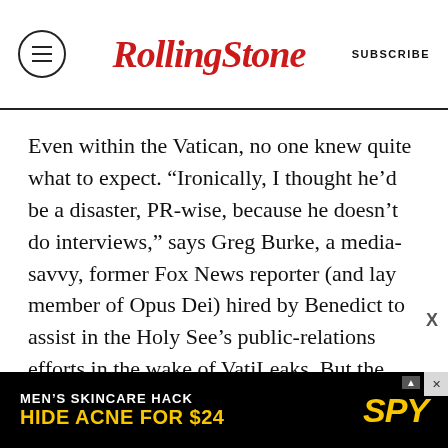RollingStone | SUBSCRIBE
Even within the Vatican, no one knew quite what to expect. “Ironically, I thought he’d be a disaster, PR-wise, because he doesn’t do interviews,” says Greg Burke, a media-savvy, former Fox News reporter (and lay member of Opus Dei) hired by Benedict to assist in the Holy See’s public-relations efforts in the wake of VatiLeaks. But the media’s normally infallible cynicism melted in the presence of such pontifical delightfulness. He canceled his own newspaper subscription, cold-called people who’d sent him letters (“Ciao...
[Figure (other): Advertisement banner: MEN'S SKINCARE HACK HIDE ACNE FOR $24 SPY]